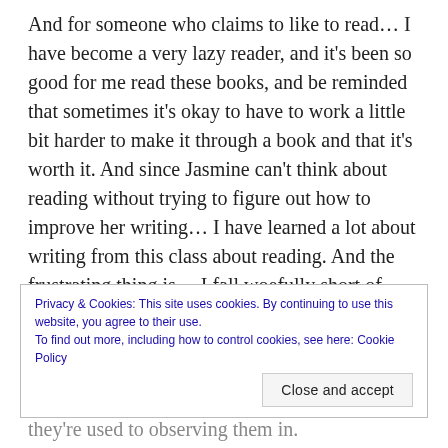And for someone who claims to like to read… I have become a very lazy reader, and it's been so good for me read these books, and be reminded that sometimes it's okay to have to work a little bit harder to make it through a book and that it's worth it. And since Jasmine can't think about reading without trying to figure out how to improve her writing… I have learned a lot about writing from this class about reading. And the frustrating thing is… I fall woefully short of what I want to be. Sigh. But I love to sit and learn, and I have also enjoyed the fact that Mom goes too
Privacy & Cookies: This site uses cookies. By continuing to use this website, you agree to their use. To find out more, including how to control cookies, see here: Cookie Policy
Close and accept
they're used to observing them in.